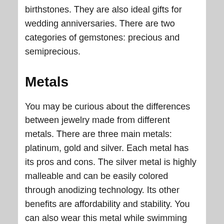birthstones. They are also ideal gifts for wedding anniversaries. There are two categories of gemstones: precious and semiprecious.
Metals
You may be curious about the differences between jewelry made from different metals. There are three main metals: platinum, gold and silver. Each metal has its pros and cons. The silver metal is highly malleable and can be easily colored through anodizing technology. Its other benefits are affordability and stability. You can also wear this metal while swimming because it is water-resistant.
Set up techniques